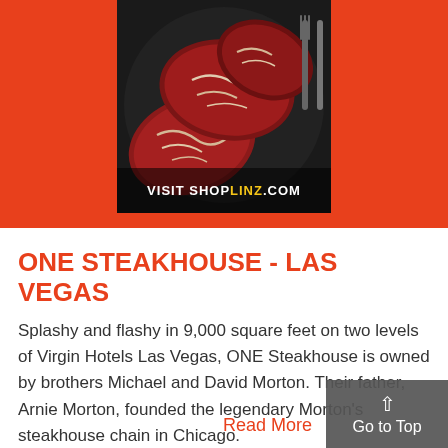[Figure (photo): Advertisement showing raw ribeye steaks in a dark cast iron pan with text 'VISIT SHOPLINZ.COM' overlaid at the bottom]
ONE STEAKHOUSE - LAS VEGAS
Splashy and flashy in 9,000 square feet on two levels of Virgin Hotels Las Vegas, ONE Steakhouse is owned by brothers Michael and David Morton. Their father, Arnie Morton, founded the legendary Morton's steakhouse chain in Chicago.
Read More